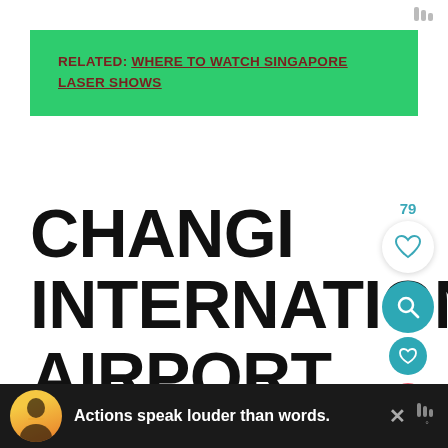menu icon top right
RELATED: WHERE TO WATCH SINGAPORE LASER SHOWS
CHANGI INTERNATIONAL AIRPORT
If your flight involves a long layover at Singapore's Changi Airport, there is no need to worry. The
[Figure (screenshot): Advertisement bar at bottom: dark background with person silhouette, text 'Actions speak louder than words.' in white bold, close button X]